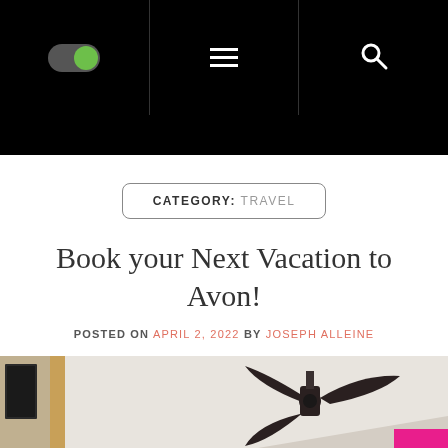Navigation header with toggle switch, hamburger menu, and search icon
Book your Next Vacation to Avon!
CATEGORY: TRAVEL
POSTED ON APRIL 2, 2022  BY JOSEPH ALLEINE
[Figure (photo): Interior room photo showing ceiling with a black ceiling fan and wood trim molding, partial view of wallpapered walls]